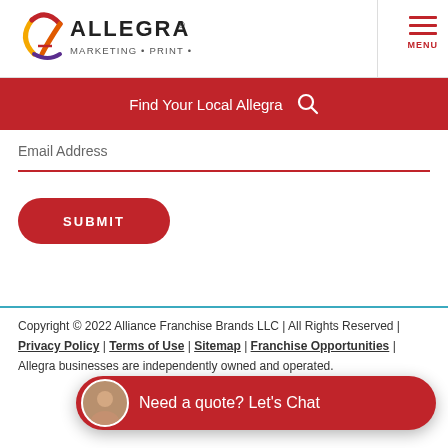[Figure (logo): Allegra Marketing Print Mail logo with colorful A icon]
MENU
Find Your Local Allegra
Email Address
SUBMIT
Copyright © 2022 Alliance Franchise Brands LLC | All Rights Reserved | Privacy Policy | Terms of Use | Sitemap | Franchise Opportunities | Allegra businesses are independently owned and operated.
Need a quote? Let's Chat